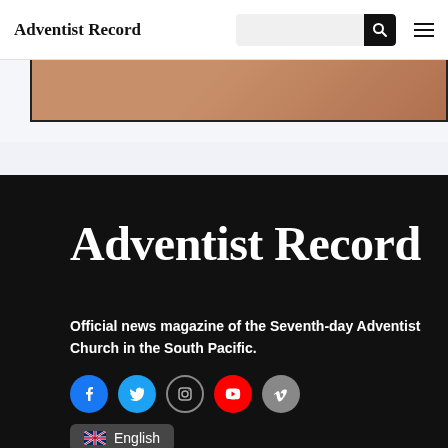Adventist Record
[Figure (photo): Partial image strip with brownish/copper tones, bordered with black, visible at top of page]
Adventist Record
Official news magazine of the Seventh-day Adventist Church in the South Pacific.
[Figure (infographic): Row of social media icons: Facebook (blue), Twitter (blue), Instagram (outline), YouTube (red), Vimeo (grey)]
English